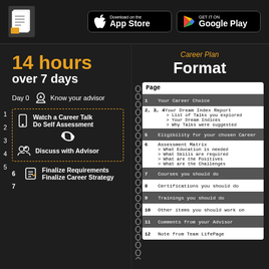Download on the App Store  |  GET IT ON Google Play
14 hours over 7 days
Day 0 - Know your advisor
1, 2 - Watch a Career Talk / Do Self Assessment
3 - (refresh/repeat)
4, 5 - Discuss with Advisor
6, 7 - Finalize Requirements / Finalize Career Strategy
Career Plan Format
| Page |  |
| --- | --- |
| 1 | Your Career Choice |
| 2, 3, 4 | Your Dream Index Report
> List of Talks you explored
> Your Dream Indices
> Why Talks were suggested |
| 5 | Eligibility for your chosen Career |
| 6 | Assessment Matrix
> What Education is needed
> What Skills are required
> What are the Positives
> What are the Challenges |
| 7 | Courses you should do |
| 8 | Certifications you should do |
| 9 | Trainings you should do |
| 10 | Other items you should work on |
| 11 | Comments from your Advisor |
| 12 | Note from Team LifePage |